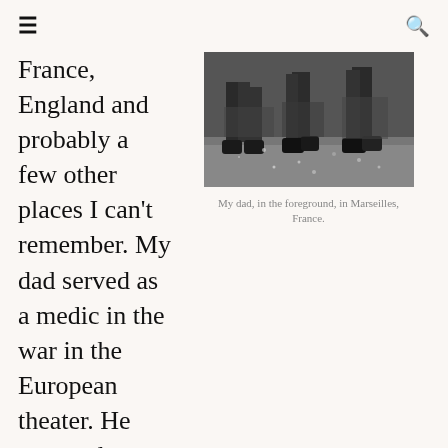≡  🔍
France, England and probably a few other places I can't remember. My dad served as a medic in the war in the European theater. He was under Gen. George Patton.
[Figure (photo): Black and white photograph showing soldiers' legs and boots, taken in Marseilles, France. The foreground figure is identified as the author's dad.]
My dad, in the foreground, in Marseilles, France.
He said he'll never forget the day Gen. Patton showed up and was choosing men for a mission. My dad was one of those chosen. He was about 29 at the time, 10 years older than most of the other guys, who used to call him Pops. Two younger soldiers who were his